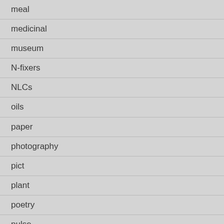meal
medicinal
museum
N-fixers
NLCs
oils
paper
photography
pict
plant
poetry
pulse
rice